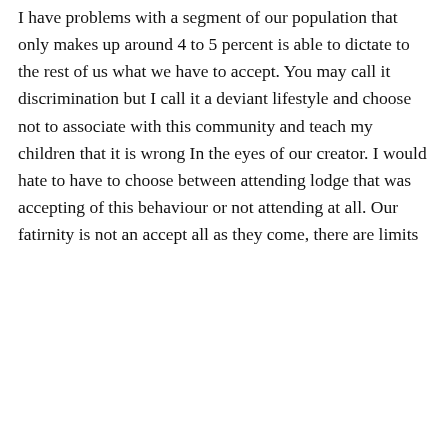I have problems with a segment of our population that only makes up around 4 to 5 percent is able to dictate to the rest of us what we have to accept. You may call it discrimination but I call it a deviant lifestyle and choose not to associate with this community and teach my children that it is wrong In the eyes of our creator. I would hate to have to choose between attending lodge that was accepting of this behaviour or not attending at all. Our fatirnity is not an accept all as they come, there are limits
Privacy & Cookies: This site uses cookies. By continuing to use this website, you agree to their use.
To find out more, including how to control cookies, see here: Cookie Policy
Close and accept